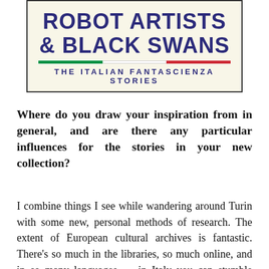[Figure (illustration): Book cover for 'Robot Artists & Black Swans: The Italian Fantascienza Stories' with dark blue bold title text on cream background, Italian flag color bar (green, white, red) separating title from subtitle]
Where do you draw your inspiration from in general, and are there any particular influences for the stories in your new collection?
I combine things I see while wandering around Turin with some new, personal methods of research. The extent of European cultural archives is fantastic. There's so much in the libraries, so much online, and in so many languages — in Italy you can stumble over some minor curiosity from 500 years ago and the...